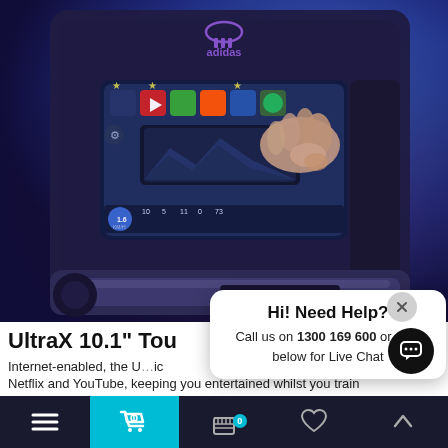[Figure (photo): Adidas branded treadmill console with touchscreen displaying app icons, a hand touching the screen, lit with blue/purple ambient lighting]
UltraX 10.1" Tou
Internet-enabled, the U...ic
Netflix and YouTube, keeping you entertained whilst you train
Hi! Need Help?
Call us on 1300 169 600 or click below for Live Chat